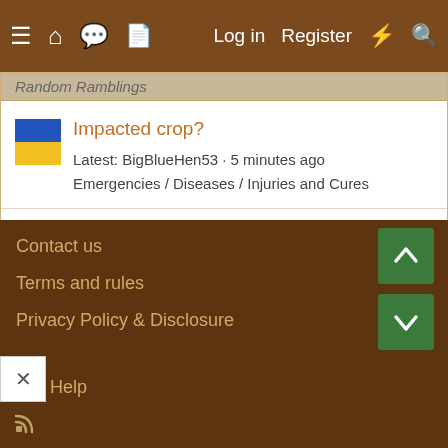≡ 🏠 💬 📄  Log in  Register  ⚡ 🔍
Random Ramblings
Impacted crop?
Latest: BigBlueHen53 · 5 minutes ago
Emergencies / Diseases / Injuries and Cures
Egg bound, needs to poop, or upset tummy?
Latest: Canadian Wind · 6 minutes ago
Ducks
Contact us
Terms and rules
Privacy Policy & Disclosure
Help